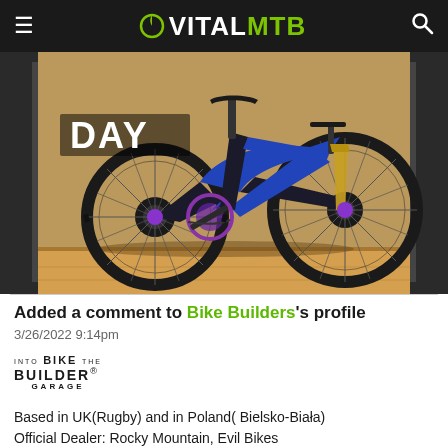VITALMTB
[Figure (photo): Mountain bike (blue and black with purple accents, full suspension) displayed against a wooden/OSB board background on a wooden platform. Text overlay 'DAY' in white bold letters top-left.]
Added a comment to Bike Builders's profile
3/26/2022 9:14pm
[Figure (logo): Bike Builder Garage logo with stylized text: ITO BIKE THE / BUILDER / GARAGE]
Based in UK(Rugby) and in Poland( Bielsko-Biała)
Official Dealer: Rocky Mountain, Evil Bikes
Votes: 0  👍0  👎0